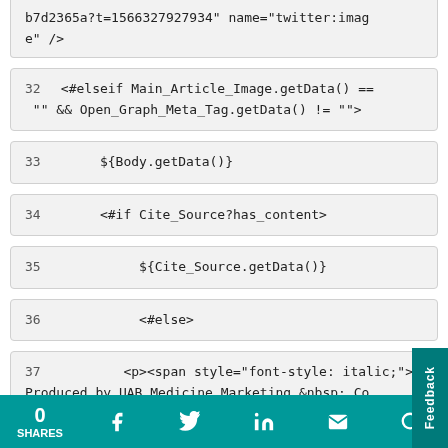b7d2365a?t=1566327927934" name="twitter:image" />
32   <#elseif Main_Article_Image.getData() == "" && Open_Graph_Meta_Tag.getData() != "">
33        ${Body.getData()}
34        <#if Cite_Source?has_content>
35             ${Cite_Source.getData()}
36             <#else>
37             <p><span style="font-style: italic;">Produced by UAB Medicine Marketing &nbsp; Communications (<a href="https://www.uabmedici
0 SHARES  [facebook] [twitter] [linkedin] [email] [search]  Feedback